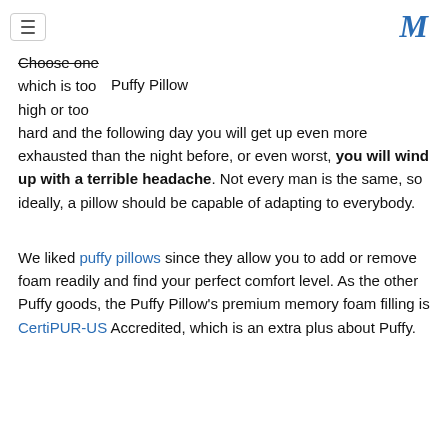[hamburger menu icon] [M logo]
Choose one
which is too   Puffy Pillow
high or too
hard and the following day you will get up even more exhausted than the night before, or even worst, you will wind up with a terrible headache. Not every man is the same, so ideally, a pillow should be capable of adapting to everybody.
We liked puffy pillows since they allow you to add or remove foam readily and find your perfect comfort level. As the other Puffy goods, the Puffy Pillow's premium memory foam filling is CertiPUR-US Accredited, which is an extra plus about Puffy.